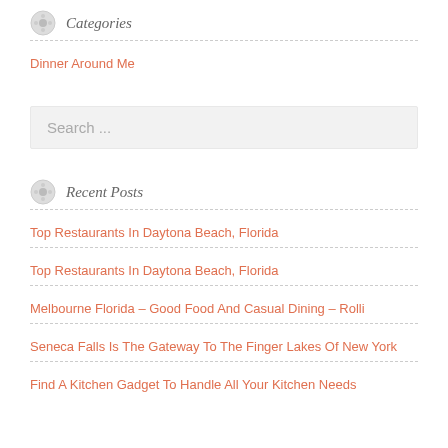Categories
Dinner Around Me
Search ...
Recent Posts
Top Restaurants In Daytona Beach, Florida
Top Restaurants In Daytona Beach, Florida
Melbourne Florida – Good Food And Casual Dining – Rolli
Seneca Falls Is The Gateway To The Finger Lakes Of New York
Find A Kitchen Gadget To Handle All Your Kitchen Needs